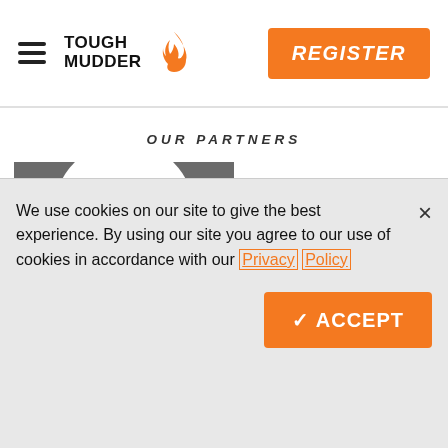TOUGH MUDDER | REGISTER
OUR PARTNERS
[Figure (logo): Partner logo - circular disc shape in dark grey]
[Figure (logo): Active network logo (partially visible)]
We use cookies on our site to give the best experience. By using our site you agree to our use of cookies in accordance with our Privacy Policy